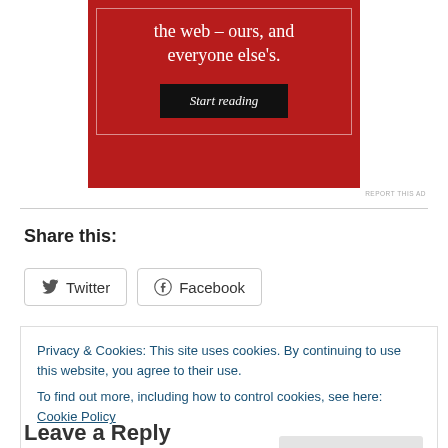[Figure (other): Red advertisement banner with text 'the web – ours, and everyone else's.' and a 'Start reading' button on dark background]
REPORT THIS AD
Share this:
Twitter  Facebook
Privacy & Cookies: This site uses cookies. By continuing to use this website, you agree to their use.
To find out more, including how to control cookies, see here: Cookie Policy
Close and accept
Leave a Reply